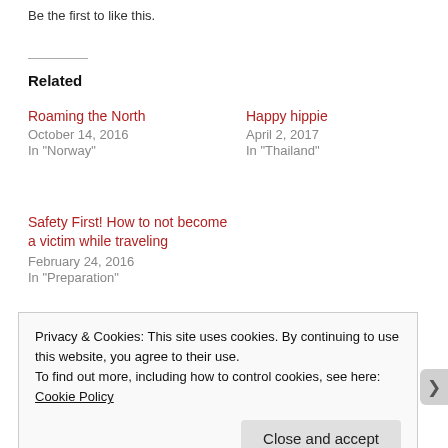Be the first to like this.
Related
Roaming the North
October 14, 2016
In "Norway"
Happy hippie
April 2, 2017
In "Thailand"
Safety First! How to not become a victim while traveling
February 24, 2016
In "Preparation"
Privacy & Cookies: This site uses cookies. By continuing to use this website, you agree to their use.
To find out more, including how to control cookies, see here: Cookie Policy